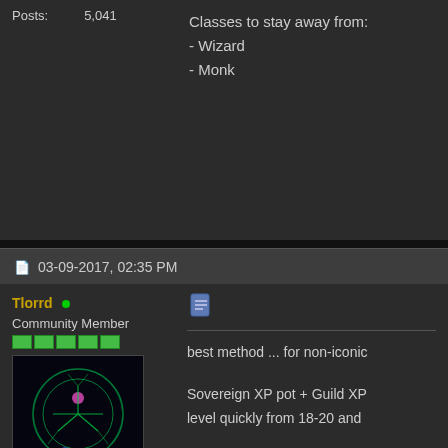Posts: 5,041
Classes to stay away from:
- Wizard
- Monk
03-09-2017, 02:35 PM
Tlorrd
Community Member
Join Date: Aug 2013
Posts: 1,555
best method ... for non-iconic
Sovereign XP pot + Guild XP level quickly from 18-20 and
All of the above helps keep t